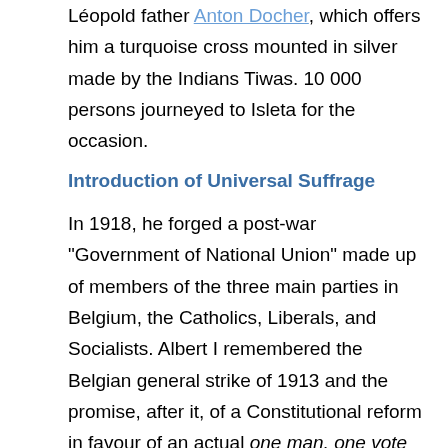Léopold father Anton Docher, which offers him a turquoise cross mounted in silver made by the Indians Tiwas. 10 000 persons journeyed to Isleta for the occasion.
Introduction of Universal Suffrage
In 1918, he forged a post-war "Government of National Union" made up of members of the three main parties in Belgium, the Catholics, Liberals, and Socialists. Albert I remembered the Belgian general strike of 1913 and the promise, after it, of a Constitutional reform in favour of an actual one man, one vote universal suffrage (on 18 April 1893 at the end of the Belgian general strike of 1893, a universal suffrage, voted by the Parliament, gave plural votes based on wealth, education and age,